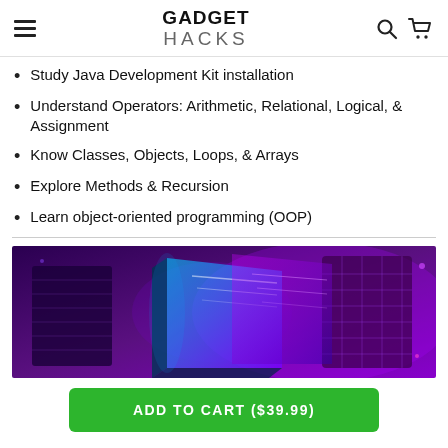GADGET HACKS
Study Java Development Kit installation
Understand Operators: Arithmetic, Relational, Logical, & Assignment
Know Classes, Objects, Loops, & Arrays
Explore Methods & Recursion
Learn object-oriented programming (OOP)
[Figure (illustration): Purple-themed isometric illustration of glowing screens and code panels on a dark purple background]
ADD TO CART ($39.99)